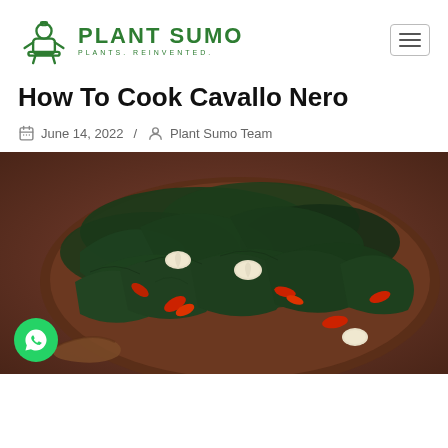PLANT SUMO — PLANTS. REINVENTED.
How To Cook Cavallo Nero
June 14, 2022 / Plant Sumo Team
[Figure (photo): A dark wooden plate/board with cooked cavallo nero (black kale) topped with garlic pieces and red chili slices, with a wooden spoon visible at the bottom right.]